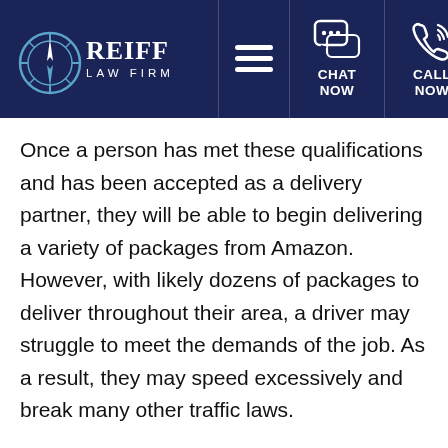[Figure (logo): Reiff Law Firm logo with compass/circle graphic, white text on dark navy background, with hamburger menu, chat now, and call now icons]
Once a person has met these qualifications and has been accepted as a delivery partner, they will be able to begin delivering a variety of packages from Amazon. However, with likely dozens of packages to deliver throughout their area, a driver may struggle to meet the demands of the job. As a result, they may speed excessively and break many other traffic laws.
While Amazon denies that delivery drivers are